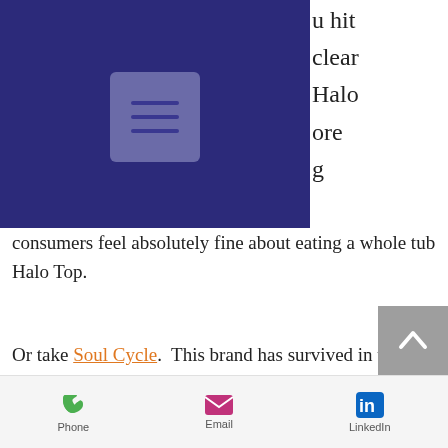[Figure (screenshot): Dark navy navigation bar with a hamburger menu button (three horizontal lines) in a lighter purple square]
u hit
clear
Halo
ore
g
consumers feel absolutely fine about eating a whole tub Halo Top.
Or take Soul Cycle.  This brand has survived in the fad-driven exercise industry while other classes and exercise machines have come and gone.  This is because Soul Cycle understand that consumers are not paying US$35 per class just to lose a few kilograms or tone their legs (the shallow problem).  They are looking for a more holistic
Phone   Email   LinkedIn